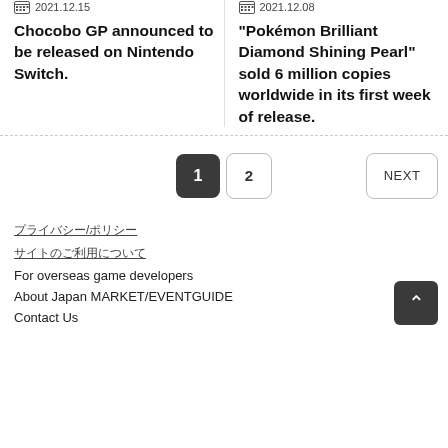2021.12.15
Chocobo GP announced to be released on Nintendo Switch.
2021.12.08
"Pokémon Brilliant Diamond Shining Pearl" sold 6 million copies worldwide in its first week of release.
1 | 2 | NEXT
プライバシー/ポリシー
サイトのご利用について
For overseas game developers
About Japan MARKET/EVENTGUIDE
Contact Us